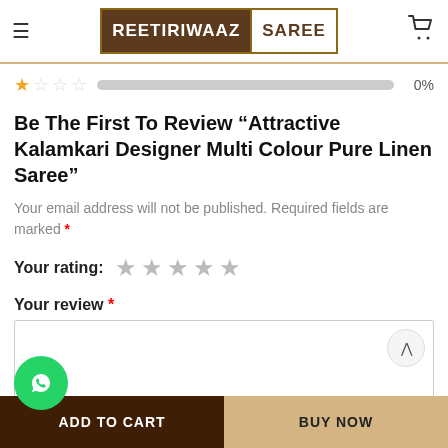REETIRIWAAZ SAREE
[Figure (other): Star rating row with 1 filled star, 3 empty stars, a progress bar at 0%, and 0% label]
Be The First To Review “Attractive Kalamkari Designer Multi Colour Pure Linen Saree”
Your email address will not be published. Required fields are marked *
Your rating:
Your review *
[Figure (screenshot): Text area input for review with scroll up and scroll down buttons on the right side]
ADD TO CART | BUY NOW